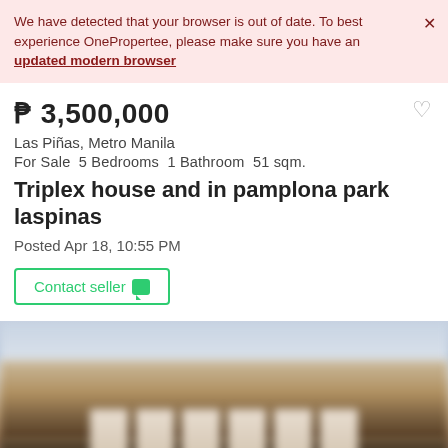We have detected that your browser is out of date. To best experience OnePropertee, please make sure you have an updated modern browser
₱ 3,500,000
Las Piñas, Metro Manila
For Sale 5 Bedrooms 1 Bathroom 51 sqm.
Triplex house and in pamplona park laspinas
Posted Apr 18, 10:55 PM
[Figure (photo): Exterior photo of a house/triplex building, blurred, showing architectural columns and building facade with sky background]